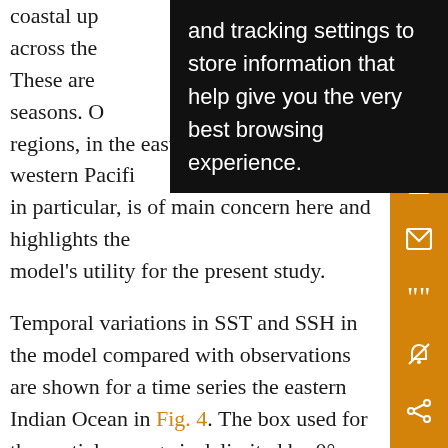coastal up... across the... These are ... g bo seasons. O... regions, in the eastern Indian Ocean and western Pacifi... in particular, is of main concern here and highlights the model's utility for the present study.
and tracking settings to store information that help give you the very best browsing experience.
Temporal variations in SST and SSH in the model compared with observations are shown for a time series the eastern Indian Ocean in Fig. 4. The box used for the spatial average is delimited by 0°–10°S and 90°–110°E, only contains the area west of Sumatra (cf. box in Fig. 3h), and will be referred to as the “eIO” region in the remainder of the study. It encloses the region along the Sumatran coastline characterized by upwelling during the